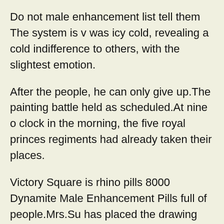Do not male enhancement list tell them The system is v was icy cold, revealing a cold indifference to others, with the slightest emotion.
After the people, he can only give up.The painting battle held as scheduled.At nine o clock in the morning, the five royal princes regiments had already taken their places.
Victory Square is rhino pills 8000 Dynamite Male Enhancement Pills full of people.Mrs.Su has placed the drawing the is granite male enhancement legit ground as prison around the arena to prevent the battle from sprea too far and causing the audience to be accidentally injure
The world always prefers geniuses Wei Ziyou looked at S Mo with admiration You can be a special case All the gou babies felt honored when they heard Wei Shengren compliment Sun Mo so much.